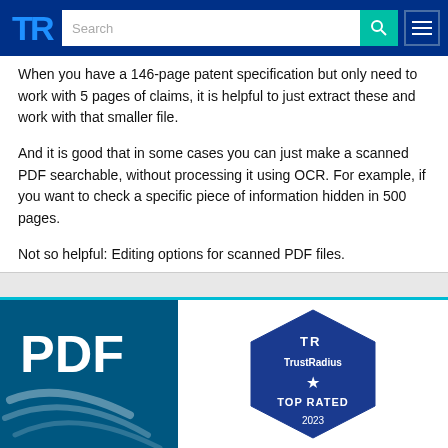TrustRadius navigation bar with logo, search, and menu
When you have a 146-page patent specification but only need to work with 5 pages of claims, it is helpful to just extract these and work with that smaller file.
And it is good that in some cases you can just make a scanned PDF searchable, without processing it using OCR. For example, if you want to check a specific piece of information hidden in 500 pages.
Not so helpful: Editing options for scanned PDF files.
[Figure (logo): PDF product logo on dark blue background with stylized arrow/swoosh graphic]
[Figure (logo): TrustRadius Top Rated badge — blue hexagon shape with TrustRadius logo and star]